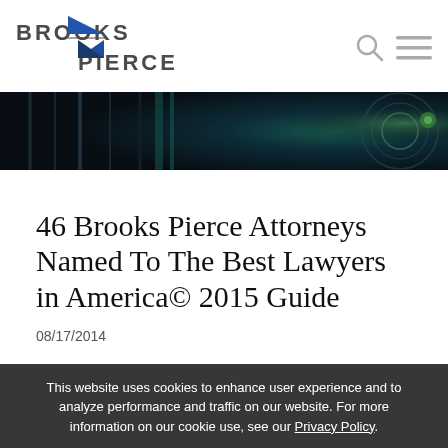[Figure (logo): Brooks Pierce law firm logo with blue cross/arrow graphic and firm name text]
[Figure (photo): Dark hero banner image showing close-up of camera lens with teal/green light reflections]
46 Brooks Pierce Attorneys Named To The Best Lawyers in America© 2015 Guide
08/17/2014
This website uses cookies to enhance user experience and to analyze performance and traffic on our website. For more information on our cookie use, see our Privacy Policy.